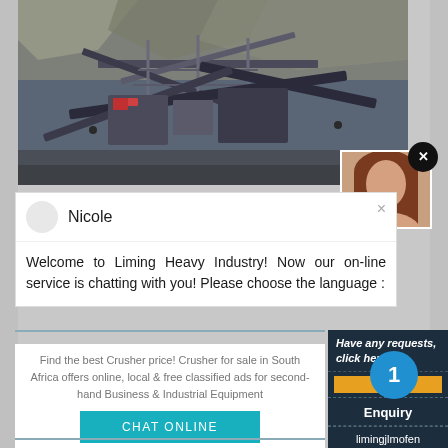[Figure (photo): Aerial/overhead view of a large mining crushing and conveyor equipment installation at a quarry or mine site, with rock faces visible in the background. Heavy industrial machinery including conveyors, crushers, and structural steel.]
Nicole
Welcome to Liming Heavy Industry! Now our on-line service is chatting with you! Please choose the language :
Find the best Crusher price! Crusher for sale in South Africa offers online, local & free classified ads for second-hand Business & Industrial Equipment
CHAT ONLINE
Have any requests, click here
Que
1
Enquiry
limingjlmofen@sina.com